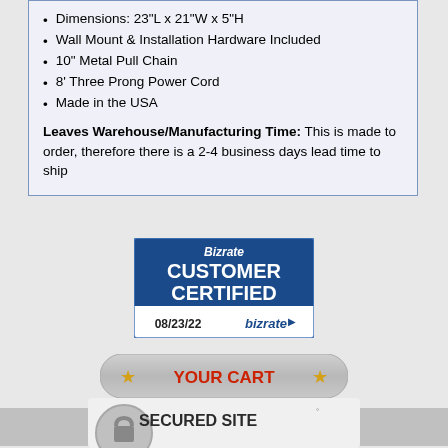Dimensions: 23"L x 21"W x 5"H
Wall Mount & Installation Hardware Included
10" Metal Pull Chain
8' Three Prong Power Cord
Made in the USA
Leaves Warehouse/Manufacturing Time: This is made to order, therefore there is a 2-4 business days lead time to ship
[Figure (logo): Bizrate Customer Certified badge dated 08/23/22]
[Figure (illustration): YOUR CART button with gold stars]
Your cart is empty.
[Figure (logo): Secured Site padlock logo]